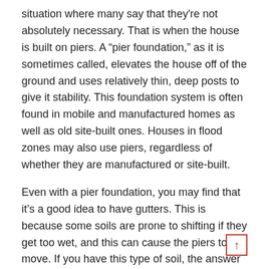situation where many say that they're not absolutely necessary. That is when the house is built on piers. A “pier foundation,” as it is sometimes called, elevates the house off of the ground and uses relatively thin, deep posts to give it stability. This foundation system is often found in mobile and manufactured homes as well as old site-built ones. Houses in flood zones may also use piers, regardless of whether they are manufactured or site-built.
Even with a pier foundation, you may find that it’s a good idea to have gutters. This is because some soils are prone to shifting if they get too wet, and this can cause the piers to move. If you have this type of soil, the answer to “are gutters necessary” is yes.
To get an estimate for gutter maintenance, repair, or replacement, contact us here at Weatherguard Gutters. We’ll be glad to help you keep your house safe.